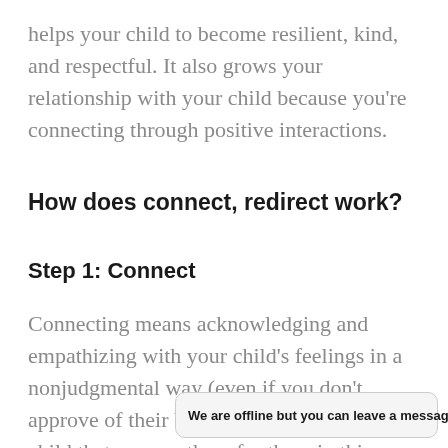helps your child to become resilient, kind, and respectful. It also grows your relationship with your child because you're connecting through positive interactions.
How does connect, redirect work?
Step 1: Connect
Connecting means acknowledging and empathizing with your child's feelings in a nonjudgmental way (even if you don't approve of their behaviour). Show your child that you are there for them in this difficult moment. Words aren't always necessary...
We are offline but you can leave a message.